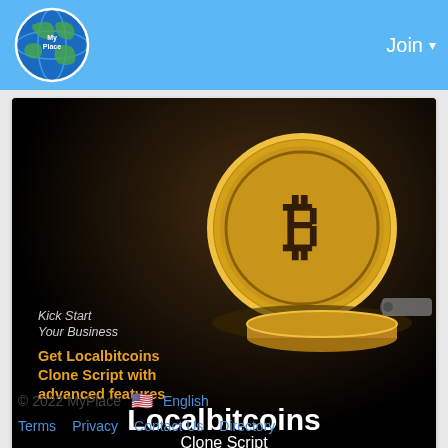Join
[Figure (illustration): Localbitcoins Clone Script advertisement image with a gold Bitcoin coin on dark background. Text reads: 'Kick Start Your Business', 'Get Localbitcoins Clone Script with advanced features', 'Localbitcoins Clone Script', 'alwin.io']
0 Comments
© 2022 MyPlace  English  Terms  Privacy  Contact Us  Directory